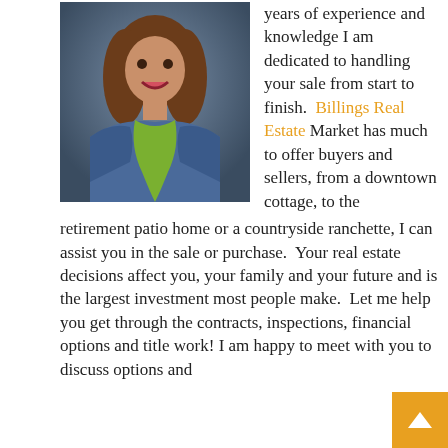[Figure (photo): Professional headshot of a woman with medium-brown hair, wearing a denim jacket and green scarf, smiling, against a blue-grey background]
years of experience and knowledge I am dedicated to handling your sale from start to finish. Billings Real Estate Market has much to offer buyers and sellers, from a downtown cottage, to the retirement patio home or a countryside ranchette, I can assist you in the sale or purchase. Your real estate decisions affect you, your family and your future and is the largest investment most people make. Let me help you get through the contracts, inspections, financial options and title work! I am happy to meet with you to discuss options and